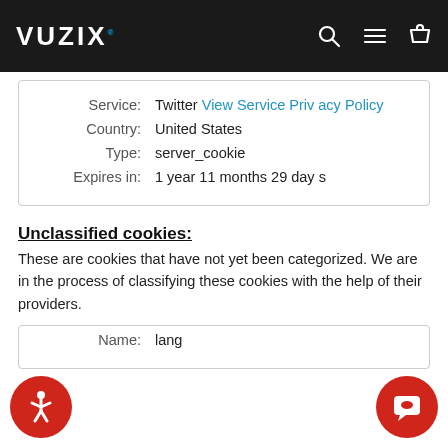VUZIX
| Service: | Twitter View Service Privacy Policy |
| Country: | United States |
| Type: | server_cookie |
| Expires in: | 1 year 11 months 29 days |
Unclassified cookies:
These are cookies that have not yet been categorized. We are in the process of classifying these cookies with the help of their providers.
| Name: | lang |